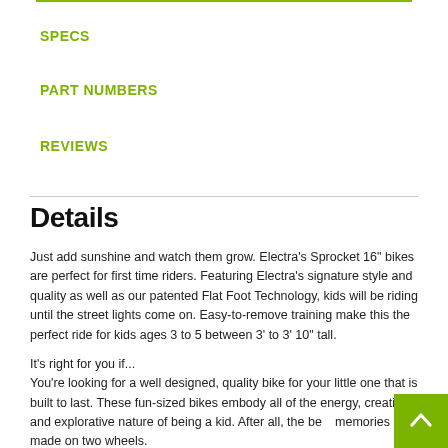SPECS
PART NUMBERS
REVIEWS
Details
Just add sunshine and watch them grow. Electra's Sprocket 16" bikes are perfect for first time riders. Featuring Electra's signature style and quality as well as our patented Flat Foot Technology, kids will be riding until the street lights come on. Easy-to-remove training make this the perfect ride for kids ages 3 to 5 between 3' to 3' 10" tall.
It's right for you if...
You're looking for a well designed, quality bike for your little one that is built to last. These fun-sized bikes embody all of the energy, creativity and explorative nature of being a kid. After all, the best memories are made on two wheels.